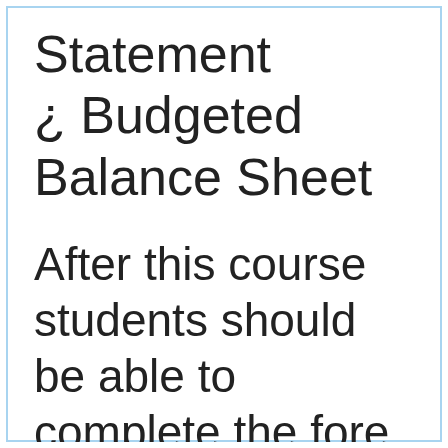Statement ¿ Budgeted Balance Sheet
After this course students should be able to complete the fore mentioned Budgeted Financial